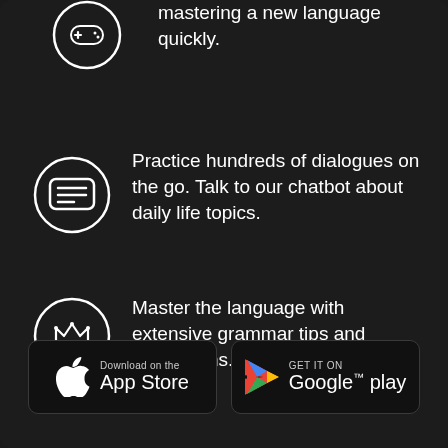[Figure (illustration): White game controller icon in a white circle on dark background (partially visible at top)]
mastering a new language quickly.
[Figure (illustration): White chat/message bubble icon in a white circle on dark background]
Practice hundreds of dialogues on the go. Talk to our chatbot about daily life topics.
[Figure (illustration): White crown icon in a white circle on dark background]
Master the language with extensive grammar tips and instructions.
[Figure (logo): App Store download button with Apple logo]
[Figure (logo): Google Play download button with Play Store triangle logo]